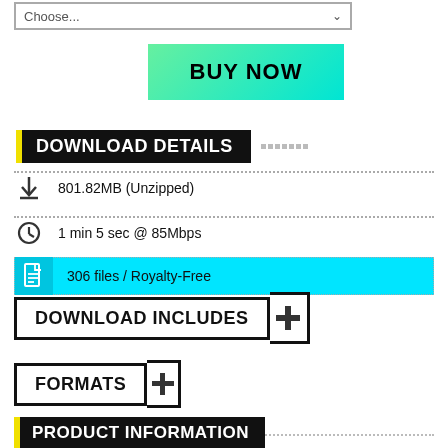Choose...
BUY NOW
DOWNLOAD DETAILS
801.82MB (Unzipped)
1 min 5 sec @ 85Mbps
306 files / Royalty-Free
DOWNLOAD INCLUDES
FORMATS
PRODUCT INFORMATION